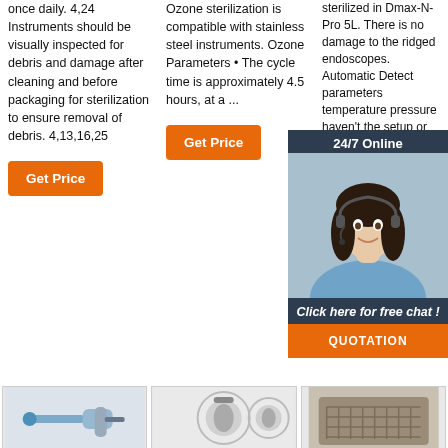once daily. 4,24 Instruments should be visually inspected for debris and damage after cleaning and before packaging for sterilization to ensure removal of debris. 4,13,16,25
Ozone sterilization is compatible with stainless steel instruments. Ozone Parameters • The cycle time is approximately 4.5 hours, at a ...
sterilized in Dmax-N- Pro 5L. There is no damage to the ridged endoscopes. Automatic Detect parameters temperature pressure haven't the setup or the apparatus has provided...
[Figure (photo): 24/7 Online chat overlay with woman wearing headset, dark background, orange QUOTATION button]
[Figure (photo): Three product thumbnail images at bottom: dental/medical instruments]
[Figure (illustration): TOP icon with orange dots forming inverted V shape and orange TOP text]